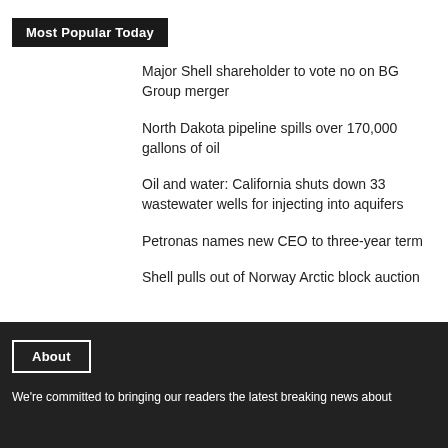Most Popular Today
Major Shell shareholder to vote no on BG Group merger
North Dakota pipeline spills over 170,000 gallons of oil
Oil and water: California shuts down 33 wastewater wells for injecting into aquifers
Petronas names new CEO to three-year term
Shell pulls out of Norway Arctic block auction
About
We're committed to bringing our readers the latest breaking news about